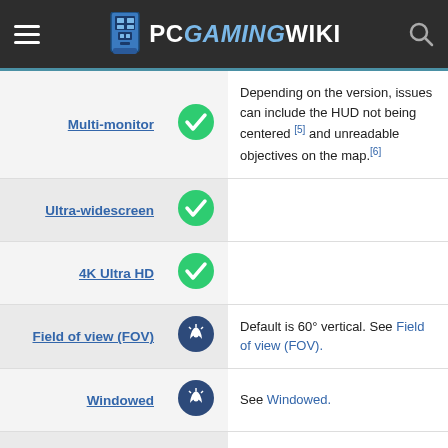PCGamingWiki
| Feature | Status | Notes |
| --- | --- | --- |
| Multi-monitor | checkmark | Depending on the version, issues can include the HUD not being centered [5] and unreadable objectives on the map.[6] |
| Ultra-widescreen | checkmark |  |
| 4K Ultra HD | checkmark |  |
| Field of view (FOV) | wrench | Default is 60° vertical. See Field of view (FOV). |
| Windowed | wrench | See Windowed. |
| Borderless fullscreen windowed | wrench | See Windowed. |
| Anisotropic filtering (AF) | checkmark | x4, x16 |
| Anti-aliasing (AA) | lock | TAA is enabled by default. Disabling TAA will break the game. SSAA x0.4-4.0 |